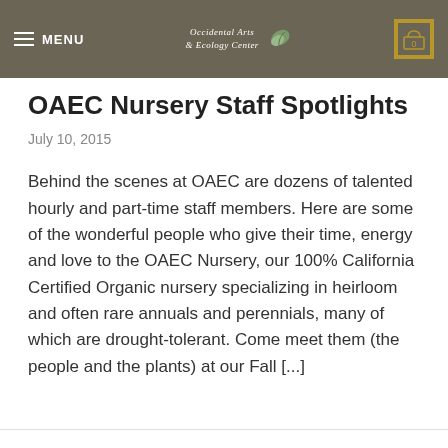MENU | Occidental Arts & Ecology Center | 0
OAEC Nursery Staff Spotlights
July 10, 2015
Behind the scenes at OAEC are dozens of talented hourly and part-time staff members. Here are some of the wonderful people who give their time, energy and love to the OAEC Nursery, our 100% California Certified Organic nursery specializing in heirloom and often rare annuals and perennials, many of which are drought-tolerant. Come meet them (the people and the plants) at our Fall [...]